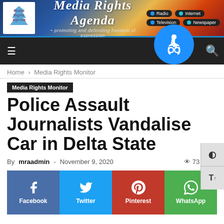[Figure (logo): Media Rights Agenda website header banner with logo, title 'Media Rights Agenda', subtitle 'promoting and defending freedom of expression', and navigation badges for Radio, Internet, Television, Newspaper]
[Figure (infographic): Black navigation bar with hamburger menu, blue accessibility icon circle, and search icon]
Home › Media Rights Monitor
Media Rights Monitor
Police Assault Journalists Vandalise Car in Delta State
By mraadmin - November 9, 2020  👁 73  💬 0
[Figure (infographic): Social share buttons row: Facebook (blue), Twitter (cyan), Pinterest (red), WhatsApp (green)]